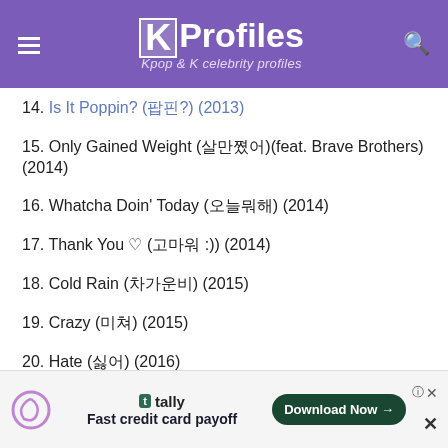KProfiles — Kpop & K celebrity profiles
14. Is It Poppin? (팝핀?) (2013)
15. Only Gained Weight (살만쪘어)(feat. Brave Brothers) (2014)
16. Whatcha Doin' Today (오늘뭐해) (2014)
17. Thank You ♡ (고마워 :)) (2014)
18. Cold Rain (차가운비) (2015)
19. Crazy (미쳐) (2015)
20. Hate (싫어) (2016)
List of Japanese singles by 4Minute
1. Muzik (2010)
2. I My Me Mine (2010)
Fast credit card payoff — tally — Download Now